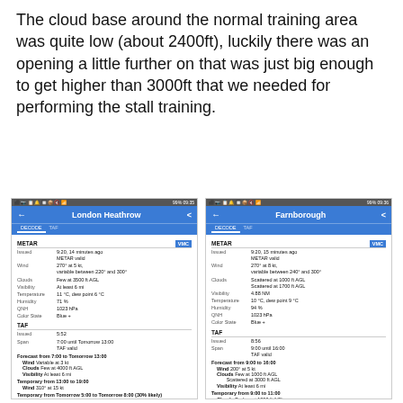The cloud base around the normal training area was quite low (about 2400ft), luckily there was an opening a little further on that was just big enough to get higher than 3000ft that we needed for performing the stall training.
[Figure (screenshot): Mobile phone screenshot showing weather data for London Heathrow including METAR and TAF information with VMC color state, wind 270° at 5kt, clouds few at 3500ft AGL, visibility at least 6mi, temperature 11°C, humidity 71%, QNH 1023hPa, Color State Blue+. TAF issued 5:52, span 7:00 until Tomorrow 13:00. Station: London Heathrow Airport, London, United Kingdom. ICAO (IATA): EGLL (LHR).]
[Figure (screenshot): Mobile phone screenshot showing weather data for Farnborough including METAR and TAF information with VMC color state, wind 270° at 8kt variable between 240° and 300°, clouds scattered at 1000ft AGL and scattered at 1700ft AGL, visibility 4.88NM, temperature 10°C dew point 9°C, humidity 94%, QNH 1023hPa, Color State Blue+. TAF issued 8:56, span 9:00 until 16:00. Station: Farnborough Airport, Farnborough, United Kingdom. ICAO (IATA): EGLF (FAB).]